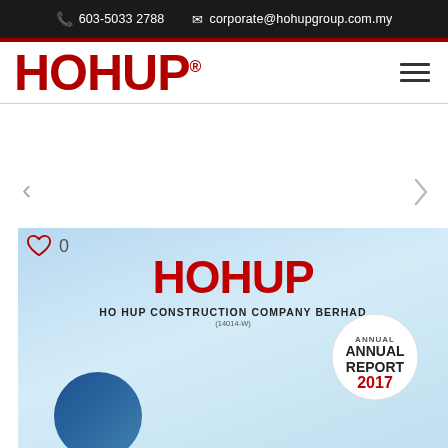603-5033 2788   corporate@hohupgroup.com.my
HOHUP®
[Figure (screenshot): Navigation arrows (left and right chevrons) for a webpage carousel, and a heart/like icon with count 0, above a preview of the Ho Hup Construction Company Berhad Annual Report 2017 cover.]
0
[Figure (illustration): Annual Report 2017 cover preview showing HOHUP branding, Ho Hup Construction Company Berhad (14014-W), with a circular building photo and Annual Report 2017 badge on a light blue background.]